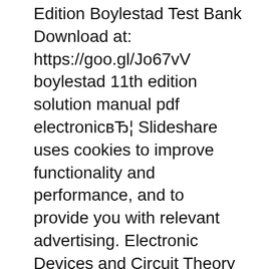Edition Boylestad Test Bank Download at: https://goo.gl/Jo67vV boylestad 11th edition solution manual pdf electronicвЂ¦ Slideshare uses cookies to improve functionality and performance, and to provide you with relevant advertising. Electronic Devices and Circuit Theory 11th Edition Boylestad Test Bank Download at: https://goo.gl/Jo67vV boylestad 11th edition solution manual pdf electronicвЂ¦ Slideshare uses cookies to improve functionality and performance, and to provide you with relevant advertising.
Fox and McDonalds Introduction to Fluid Mechanics Edition Pritchard Solutions Manual Instant download Solution Manual For Fox and McDonalds Introduction to Fluid Mechanics 8th